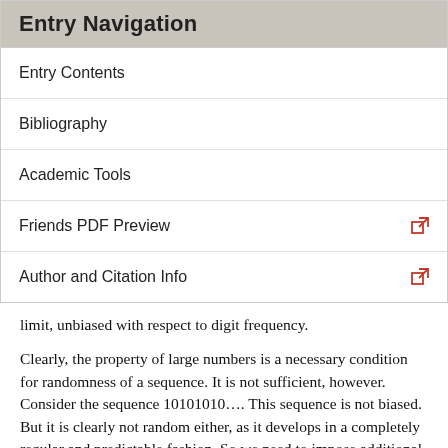Entry Navigation
Entry Contents
Bibliography
Academic Tools
Friends PDF Preview
Author and Citation Info
limit, unbiased with respect to digit frequency.
Clearly, the property of large numbers is a necessary condition for randomness of a sequence. It is not sufficient, however. Consider the sequence 10101010…. This sequence is not biased. But it is clearly not random either, as it develops in a completely regular and predictable fashion. So we need to impose additional constraints. Each of these constraints will be another property of stochasticity we should expect of a random sequence, including all other such limit properties of